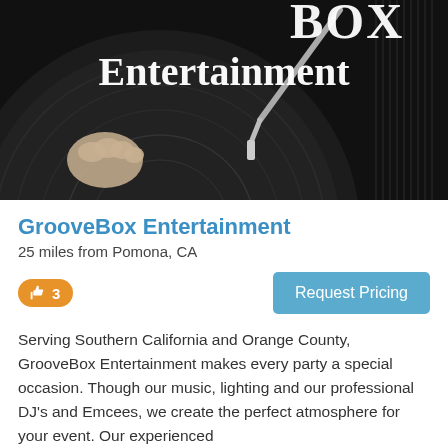[Figure (photo): Black and white photo of a DJ turntable/record player with a hand on the vinyl and a needle. Text 'BOX Entertainment' visible overlaid in white serif font.]
GrooveBox Entertainment
25 miles from Pomona, CA
👍 3
Request Pricing
Serving Southern California and Orange County, GrooveBox Entertainment makes every party a special occasion. Though our music, lighting and our professional DJ's and Emcees, we create the perfect atmosphere for your event. Our experienced
[Figure (photo): Partial photo of a man's face from the nose up, against a blue textured background.]